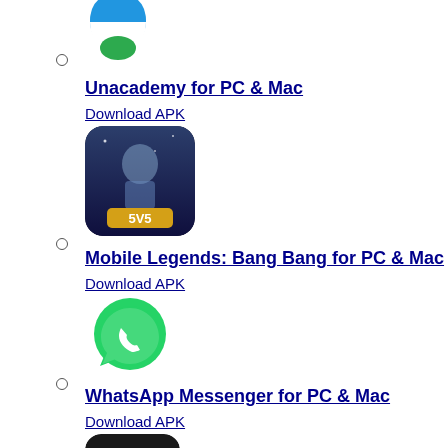[Figure (logo): Unacademy app icon - blue and green bowl/dome shape on white background]
Unacademy for PC & Mac
Download APK
[Figure (logo): Mobile Legends Bang Bang game icon - anime warrior character with 5v5 label]
Mobile Legends: Bang Bang for PC & Mac
Download APK
[Figure (logo): WhatsApp Messenger icon - green circle with white phone handset]
WhatsApp Messenger for PC & Mac
Download APK
[Figure (logo): PLAYit app icon - black rounded square with red play button circle and PLAYit text]